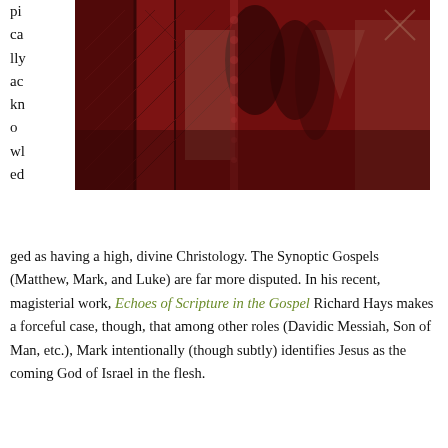pically acknowledged as having a high, divine Christology. The Synoptic Gospels (Matthew, Mark, and Luke) are far more disputed. In his recent, magisterial work, Echoes of Scripture in the Gospel Richard Hays makes a forceful case, though, that among other roles (Davidic Messiah, Son of Man, etc.), Mark intentionally (though subtly) identifies Jesus as the coming God of Israel in the flesh.
[Figure (photo): A dark reddish-brown toned photograph showing silhouettes of figures in what appears to be an architectural or religious interior setting with ornate elements.]